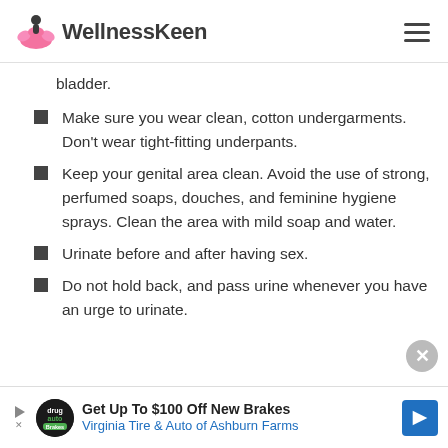WellnessKeen
bladder.
Make sure you wear clean, cotton undergarments. Don't wear tight-fitting underpants.
Keep your genital area clean. Avoid the use of strong, perfumed soaps, douches, and feminine hygiene sprays. Clean the area with mild soap and water.
Urinate before and after having sex.
Do not hold back, and pass urine whenever you have an urge to urinate.
[Figure (other): Advertisement banner: Get Up To $100 Off New Brakes - Virginia Tire & Auto of Ashburn Farms]